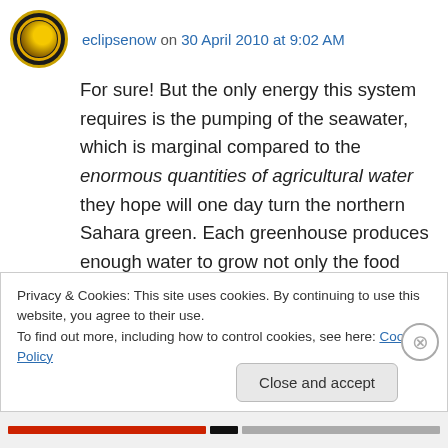eclipsenow on 30 April 2010 at 9:02 AM
For sure! But the only energy this system requires is the pumping of the seawater, which is marginal compared to the enormous quantities of agricultural water they hope will one day turn the northern Sahara green. Each greenhouse produces enough water to grow not only the food inside, but 5 times that quantity of water can be released to grow more heat resistant crops outside the greenhouse.
Privacy & Cookies: This site uses cookies. By continuing to use this website, you agree to their use.
To find out more, including how to control cookies, see here: Cookie Policy
Close and accept